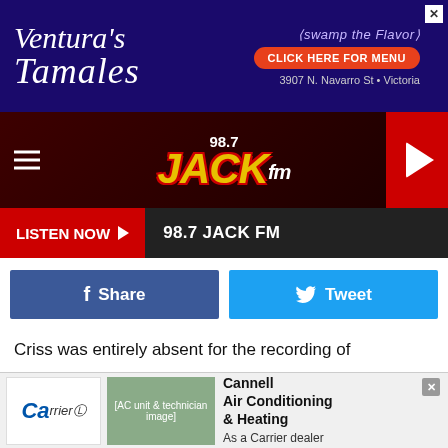[Figure (other): Ventura's Tamales advertisement banner with dark blue background, logo text, 'Swamp the Flavor' tagline, 'CLICK HERE FOR MENU' red button, and address '3907 N. Navarro St • Victoria']
[Figure (logo): 98.7 JACK fm radio station header with dark red textured background, hamburger menu icon on left, JACK fm logo in center, and red play button on right]
LISTEN NOW ▶  98.7 JACK FM
[Figure (other): Social sharing buttons row: Facebook Share button (dark blue) and Tweet button (light blue)]
Criss was entirely absent for the recording of Unmasked, which found the band going deeper into the world of pop instead of reverting to their roots. "Those were the kinds of songs that Paul was writing," explained Dynasty and Unmasked producer Vini Poncia. "It wasn't my idea to come in and change anything. They wanted to find out if they could work in that pop area and be effective."
[Figure (other): Cannell Air Conditioning & Heating advertisement at bottom - Carrier dealer ad with logo and technician image]